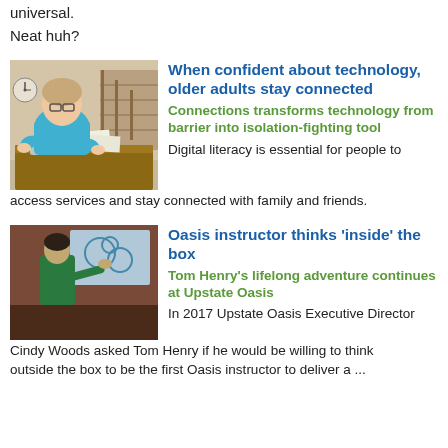universal.
Neat huh?
[Figure (photo): Older woman in blue shirt sitting at a table with papers, appears to be in a home setting with a staircase in the background.]
When confident about technology, older adults stay connected
Connections transforms technology from barrier into isolation-fighting tool
Digital literacy is essential for people to access services and stay connected with family and friends.
[Figure (photo): Person in green outfit presenting at a whiteboard/screen to an audience of older adults, educational setting.]
Oasis instructor thinks 'inside' the box
Tom Henry's lifelong adventure continues at Upstate Oasis
In 2017 Upstate Oasis Executive Director Cindy Woods asked Tom Henry if he would be willing to think outside the box to be the first Oasis instructor to deliver a ...